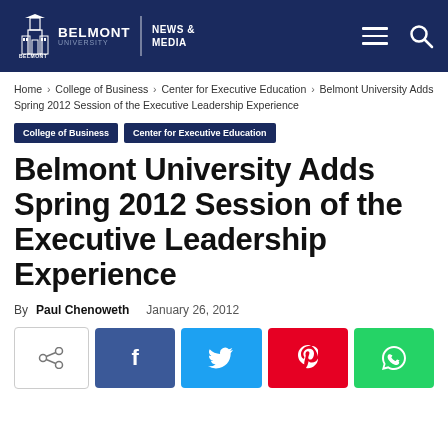Belmont University | News & Media
Home › College of Business › Center for Executive Education › Belmont University Adds Spring 2012 Session of the Executive Leadership Experience
College of Business   Center for Executive Education
Belmont University Adds Spring 2012 Session of the Executive Leadership Experience
By Paul Chenoweth   January 26, 2012
[Figure (other): Social sharing buttons: share, Facebook, Twitter, Pinterest, WhatsApp]